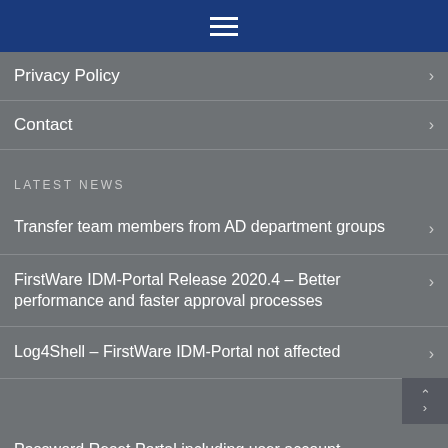Navigation menu hamburger icon
Privacy Policy
Contact
LATEST NEWS
Transfer team members from AD department groups
FirstWare IDM-Portal Release 2020.4 – Better performance and faster approval processes
Log4Shell – FirstWare IDM-Portal not affected
Password Reset Portal including user account